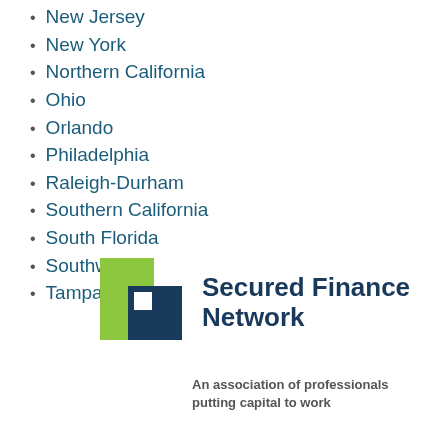New Jersey
New York
Northern California
Ohio
Orlando
Philadelphia
Raleigh-Durham
Southern California
South Florida
Southwest
Tampa Bay
[Figure (logo): Secured Finance Network logo with overlapping green and dark blue square shapes]
An association of professionals putting capital to work